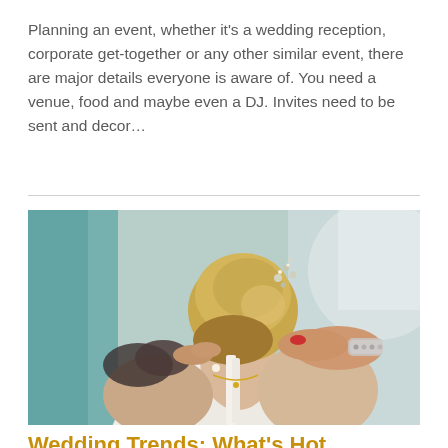Planning an event, whether it's a wedding reception, corporate get-together or any other similar event, there are major details everyone is aware of. You need a venue, food and maybe even a DJ. Invites need to be sent and decor...
[Figure (photo): Close-up photo of a bride from behind with an updo hairstyle decorated with floral pins. Hands (with red nail polish and a jeweled bracelet) are fastening a ribbon or veil at the back of her neck. She is wearing a white dress and a delicate necklace.]
Wedding Trends: What's Hot